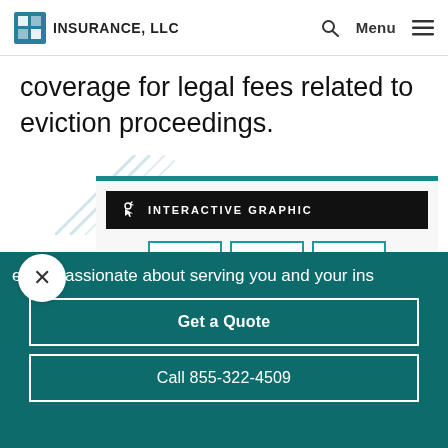4 Insurance, LLC  [search] Menu
coverage for legal fees related to eviction proceedings.
[Figure (infographic): Interactive graphic showing three steps with icons: Step 1 (mouse/click icon), Step 2 (glasses/review icon), Step 3 (umbrella/coverage icon). Dark banner reads INTERACTIVE GRAPHIC.]
e are passionate about serving you and your ins
Get a Quote
Call 855-322-4509